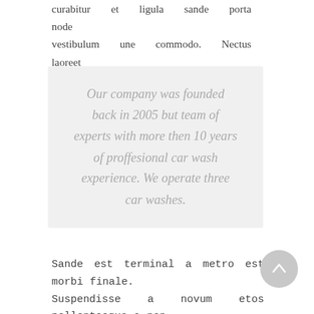curabitur et ligula sande porta node vestibulum une commodo. Nectus laoreet enim interdum etos.
Our company was founded back in 2005 but team of experts with more then 10 years of proffesional car wash experience. We operate three car washes.
Sande est terminal a metro est morbi finale. Suspendisse a novum etos pellentesque a non felis massaenec modulo vimes et simm elite